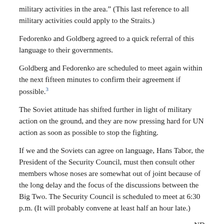military activities in the area.” (This last reference to all military activities could apply to the Straits.)
Fedorenko and Goldberg agreed to a quick referral of this language to their governments.
Goldberg and Fedorenko are scheduled to meet again within the next fifteen minutes to confirm their agreement if possible.³
The Soviet attitude has shifted further in light of military action on the ground, and they are now pressing hard for UN action as soon as possible to stop the fighting.
If we and the Soviets can agree on language, Hans Tabor, the President of the Security Council, must then consult other members whose noses are somewhat out of joint because of the long delay and the focus of the discussions between the Big Two. The Security Council is scheduled to meet at 6:30 p.m. (It will probably convene at least half an hour late.)
ND
1. Source: Johnson Library, National Security File, Country File,